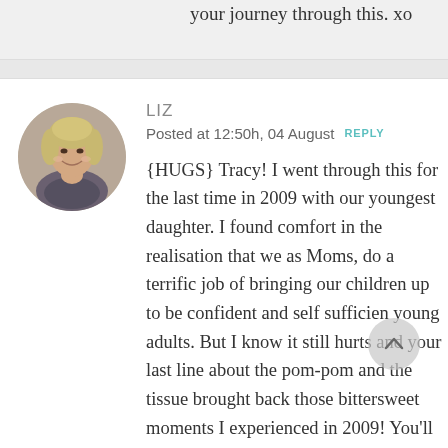your journey through this. xo
LIZ
Posted at 12:50h, 04 August REPLY
[Figure (photo): Circular avatar photo of a woman with short blonde hair, smiling, wearing a dark patterned top]
{HUGS} Tracy! I went through this for the last time in 2009 with our youngest daughter. I found comfort in the realisation that we as Moms, do a terrific job of bringing our children up to be confident and self sufficient young adults. But I know it still hurts and your last line about the pom-pom and the tissue brought back those bittersweet moments I experienced in 2009! You'll do just fine – and so will your beautiful daughter! More {HUGS}